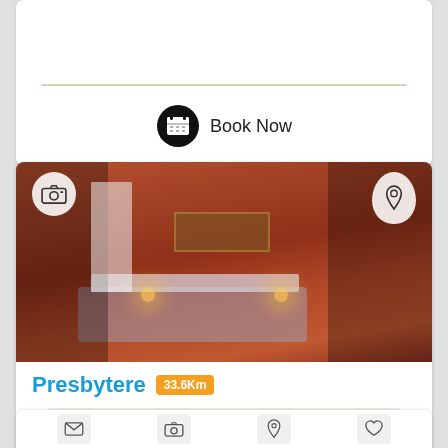[Figure (screenshot): Top portion of a hotel/accommodation listing card showing a green divider line and a Book Now button with calendar icon]
[Figure (photo): Hotel room photo showing a bedroom with orange/terracotta walls, a double bed with blue-grey bedding, antique furniture, paintings on walls, and warm lighting. Camera icon overlay top-left, map pin icon overlay top-right.]
Presbytere 33.6Km
From €341 / night
Book Now
[Figure (screenshot): Bottom partial card showing icon buttons including envelope, camera, location pin, and heart icons]